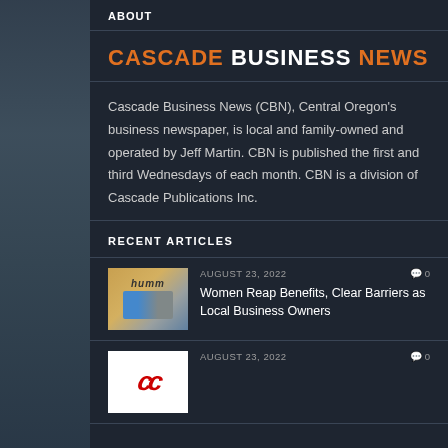ABOUT
CASCADE BUSINESS NEWS
Cascade Business News (CBN), Central Oregon's business newspaper, is local and family-owned and operated by Jeff Martin. CBN is published the first and third Wednesdays of each month. CBN is a division of Cascade Publications Inc.
RECENT ARTICLES
[Figure (photo): Two women standing together, smiling. Background shows 'humm' text.]
AUGUST 23, 2022   0
Women Reap Benefits, Clear Barriers as Local Business Owners
[Figure (logo): Red CC logo on white background]
AUGUST 23, 2022   0